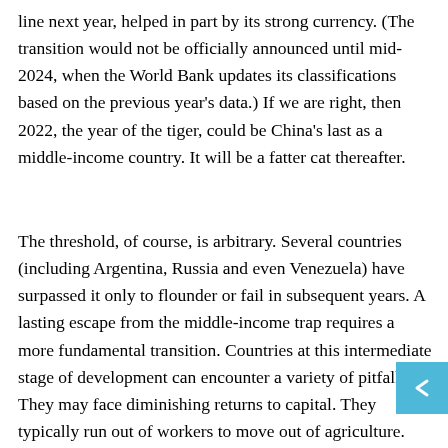line next year, helped in part by its strong currency. (The transition would not be officially announced until mid-2024, when the World Bank updates its classifications based on the previous year's data.) If we are right, then 2022, the year of the tiger, could be China's last as a middle-income country. It will be a fatter cat thereafter.
The threshold, of course, is arbitrary. Several countries (including Argentina, Russia and even Venezuela) have surpassed it only to flounder or fail in subsequent years. A lasting escape from the middle-income trap requires a more fundamental transition. Countries at this intermediate stage of development can encounter a variety of pitfalls. They may face diminishing returns to capital. They typically run out of workers to move out of agriculture. And they must invest heavily in education, beyond the basic schooling a factory hand needs to follow instructions. The truer test of a high-income country is